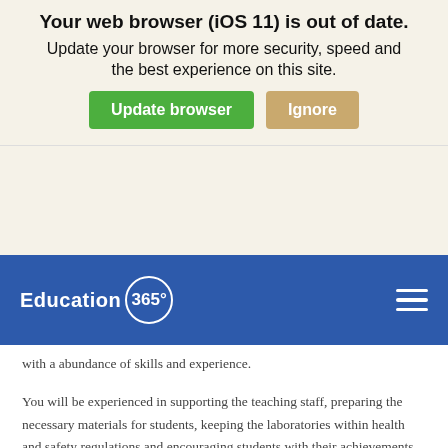[Figure (screenshot): Browser update notification banner with title 'Your web browser (iOS 11) is out of date.' and subtitle 'Update your browser for more security, speed and the best experience on this site.' with two buttons: 'Update browser' (green) and 'Ignore' (tan/gold).]
[Figure (logo): Education 365 logo in white text on blue navigation bar, with circle enclosing '365°' and hamburger menu icon on the right.]
with a abundance of skills and experience.
You will be experienced in supporting the teaching staff, preparing the necessary materials for students, keeping the laboratories within health and safety regulations and encouraging students with their achievements in Science. You must be enthusiastic about science with the ability to work as part of a supportive team.
If you are keen to hear more, please apply today!